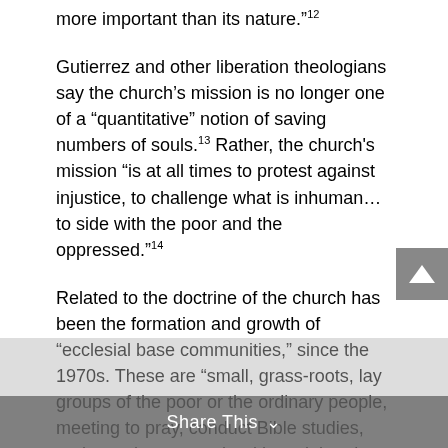more important than its nature.”¹²
Gutierrez and other liberation theologians say the church’s mission is no longer one of a “quantitative” notion of saving numbers of souls.¹³ Rather, the church's mission “is at all times to protest against injustice, to challenge what is inhuman…to side with the poor and the oppressed.”¹⁴
Related to the doctrine of the church has been the formation and growth of “ecclesia base communities,” since the 1970s. These are “small, grass-roots, lay groups of the poor or the ordinary people, meeting to pray, conduct Bible studies, and wrestle concretely with social and political obligations in their settings.”¹⁵
These communities have been effective in showing workers and peasants how to organize for their own social welfare. Gutierrez says that “in most Latin American countries, the church’s base communities are the only form of social action available to the poor.”¹⁶ Indeed, they have become “the major vehicle for the